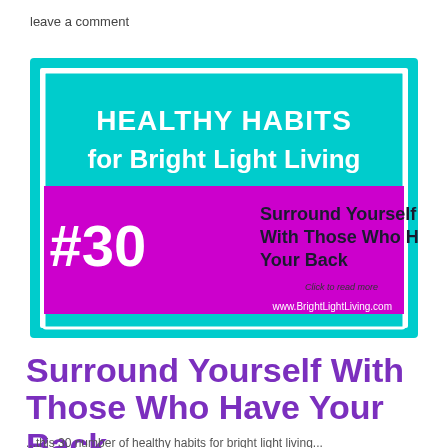leave a comment
[Figure (infographic): Healthy Habits for Bright Light Living #30 - Surround Yourself With Those Who Have Your Back. Teal/cyan bordered box with white inner border, cyan background for top text, magenta/pink band for #30 and subtitle, white text for headers, dark text for subtitle, website www.BrightLightLiving.com at bottom right.]
Surround Yourself With Those Who Have Your Back
...this 30 number of healthy habits for bright light living...